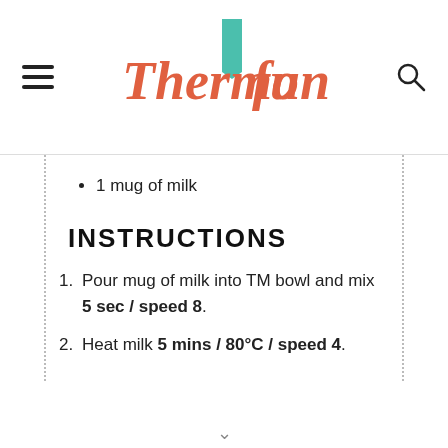ThermoFun
1 mug of milk
INSTRUCTIONS
1. Pour mug of milk into TM bowl and mix 5 sec / speed 8.
2. Heat milk 5 mins / 80°C / speed 4.